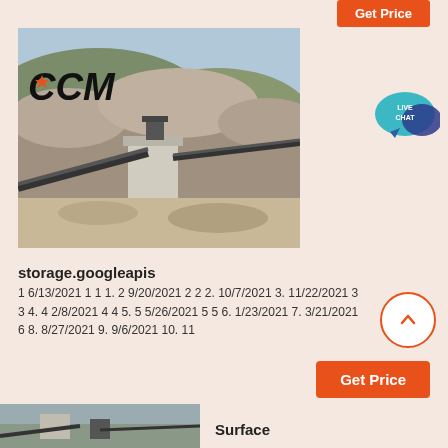Get Price
[Figure (photo): Aerial view of a mining/quarrying facility with conveyor belts, crushers, and rock piles. CCM logo text visible on the image.]
[Figure (other): Live Chat bubble icon]
storage.googleapis
1 6/13/2021 1 1 1. 2 9/20/2021 2 2 2. 10/7/2021 3. 11/22/2021 3 3 4. 4 2/8/2021 4 4 5. 5 5/26/2021 5 5 6. 1/23/2021 7. 3/21/2021 6 8. 8/27/2021 9. 9/6/2021 10. 11
[Figure (other): Scroll to top arrow button]
Get Price
[Figure (photo): Bottom thumbnail image of mining/quarrying site]
Surface